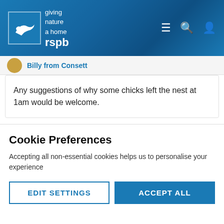[Figure (logo): RSPB logo with bird silhouette and tagline 'giving nature a home']
Billy from Consett
Any suggestions of why some chicks left the nest at 1am would be welcome.
Germain
31 May 202
It's really odd because that noise seems to be the trigger -
Cookie Preferences
Accepting all non-essential cookies helps us to personalise your experience
EDIT SETTINGS
ACCEPT ALL